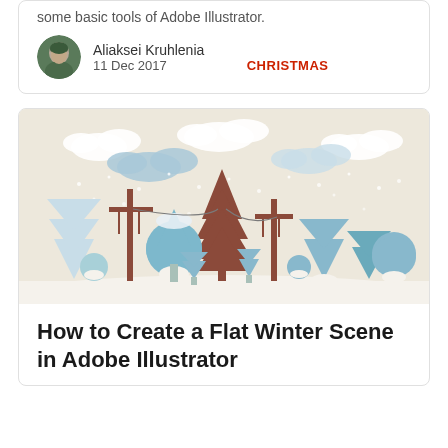some basic tools of Adobe Illustrator.
Aliaksei Kruhlenia
11 Dec 2017
CHRISTMAS
[Figure (illustration): Flat design winter scene with trees (pine trees, round blue snow-covered trees, bare trees), telegraph poles, clouds, and falling snow on a beige/cream background.]
How to Create a Flat Winter Scene in Adobe Illustrator